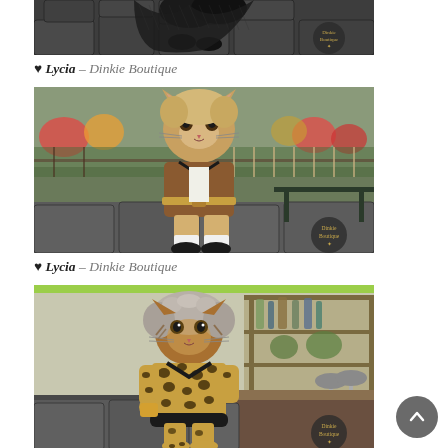[Figure (photo): Partial bottom portion of a virtual cat avatar wearing a black frilly outfit on a stone-patterned floor, with Dinkie Boutique watermark logo]
♥ Lycia – Dinkie Boutique
[Figure (photo): Virtual cat avatar (Dinkie) with blonde/tan fur wearing a brown and black outfit with belt, standing in a garden patio setting with flowers and stone tiles. Dinkie Boutique watermark logo visible.]
♥ Lycia – Dinkie Boutique
[Figure (photo): Virtual cat avatar (Dinkie) with gray hat/hair wearing a leopard print outfit with black fur trim, standing in a modern bar/restaurant setting. Dinkie Boutique watermark logo visible.]
♥ Lycia – Dinkie Boutique